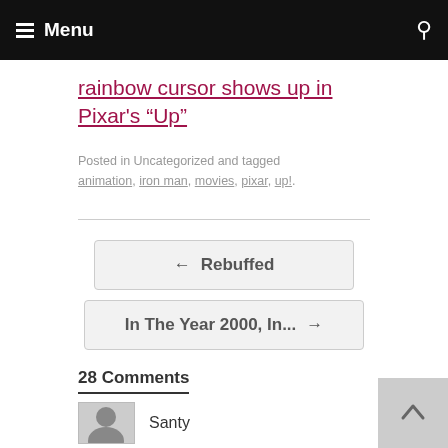Menu
rainbow cursor shows up in Pixar's “Up”
Posted in Uncategorized and tagged animation, iron man, movies, pixar, up!.
← Rebuffed
In The Year 2000, In... →
28 Comments
Santy